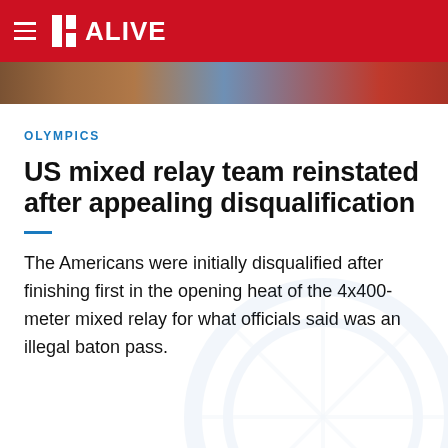11 ALIVE
[Figure (photo): Hero image showing crowd at an Olympic event with colorful attire]
OLYMPICS
US mixed relay team reinstated after appealing disqualification
The Americans were initially disqualified after finishing first in the opening heat of the 4x400-meter mixed relay for what officials said was an illegal baton pass.